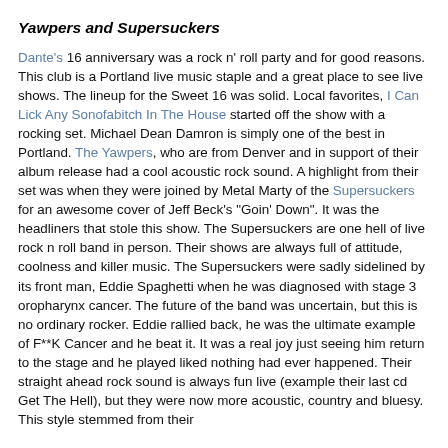Yawpers and Supersuckers
Dante's 16 anniversary was a rock n' roll party and for good reasons. This club is a Portland live music staple and a great place to see live shows. The lineup for the Sweet 16 was solid. Local favorites, I Can Lick Any Sonofabitch In The House started off the show with a rocking set. Michael Dean Damron is simply one of the best in Portland. The Yawpers, who are from Denver and in support of their album release had a cool acoustic rock sound. A highlight from their set was when they were joined by Metal Marty of the Supersuckers for an awesome cover of Jeff Beck's "Goin' Down". It was the headliners that stole this show. The Supersuckers are one hell of live rock n roll band in person. Their shows are always full of attitude, coolness and killer music. The Supersuckers were sadly sidelined by its front man, Eddie Spaghetti when he was diagnosed with stage 3 oropharynx cancer. The future of the band was uncertain, but this is no ordinary rocker. Eddie rallied back, he was the ultimate example of F**K Cancer and he beat it. It was a real joy just seeing him return to the stage and he played liked nothing had ever happened. Their straight ahead rock sound is always fun live (example their last cd Get The Hell), but they were now more acoustic, country and bluesy. This style stemmed from their